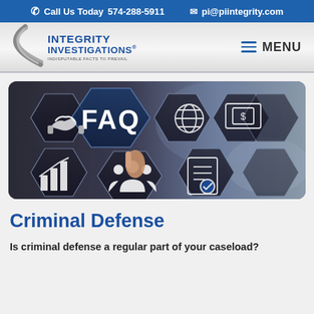Call Us Today 574-288-5911   pi@piintegrity.com
[Figure (logo): Integrity Investigations logo with gray arc and blue text. Tagline: INDISPUTABLE FACTS TO PREVAIL]
[Figure (photo): FAQ banner image showing a hand pointing at hexagonal honeycomb cells with icons including FAQ text, handshake, globe, money, bar chart, people, and document with checkmark]
Criminal Defense
Is criminal defense a regular part of your caseload?